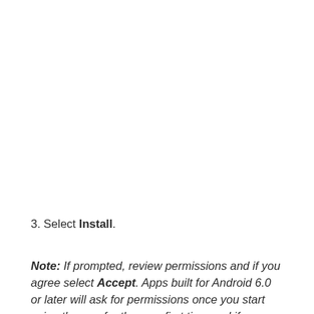3. Select Install.
Note: If prompted, review permissions and if you agree select Accept. Apps built for Android 6.0 or later will ask for permissions once you start using the app for the very first time and if you